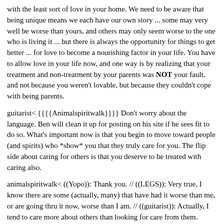with the least sort of love in your home. We need to be aware that being unique means we each have our own story ... some may very well be worse than yours, and others may only seem worse to the one who is living it ... but there is always the opportunity for things to get better ... for love to become a nourishing factor in your life. You have to allow love in your life now, and one way is by realizing that your treatment and non-treatment by your parents was NOT your fault, and not because you weren't lovable, but because they couldn't cope with being parents.
guitarist< {{{{Animalspiritwalk}}}} Don't worry about the language. Ben will clean it up for posting on his site if he sees fit to do so. What's important now is that you begin to move toward people (and spirits) who *show* you that they truly care for you. The flip side about caring for others is that you deserve to be treated with caring also.
animalspiritwalk< ((Yopo)): Thank you. // ((LEGS)): Very true, I know there are some (actually, many) that have had it worse than me, or are going thru it now, worse than I am. // ((guitarist)): Actually, I tend to care more about others than looking for care from them.
FreeLove< animalspiritwalk: (((*)))
Star12< Excuse me ... I mean no disrespect, but saying to one who